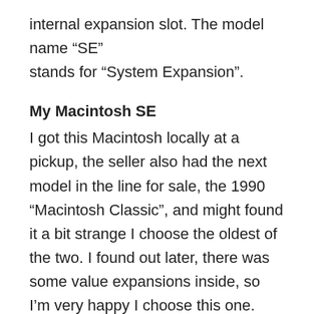internal expansion slot. The model name “SE” stands for “System Expansion”.
My Macintosh SE
I got this Macintosh locally at a pickup, the seller also had the next model in the line for sale, the 1990 “Macintosh Classic”, and might found it a bit strange I choose the oldest of the two. I found out later, there was some value expansions inside, so I’m very happy I choose this one. This model as many others got a backup-battery soldered directly onto the main board that with time will start to leak and make some serious damages.
Replace battery